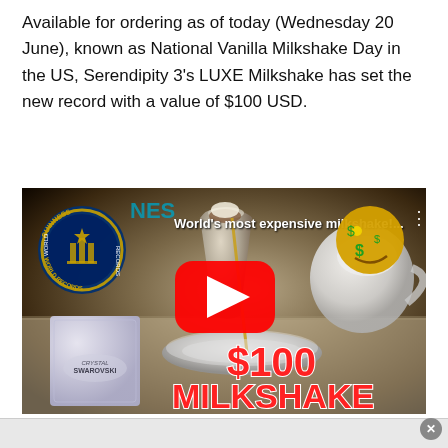Available for ordering as of today (Wednesday 20 June), known as National Vanilla Milkshake Day in the US, Serendipity 3's LUXE Milkshake has set the new record with a value of $100 USD.
[Figure (screenshot): YouTube video thumbnail showing 'World's most expensive milkshake!' with a crystal-encrusted milkshake cup on a silver tray, a Swarovski crystal box, a teapot, Guinness World Records badge, money emoji, and red '$100 MILKSHAKE' price overlay with YouTube play button in the center.]